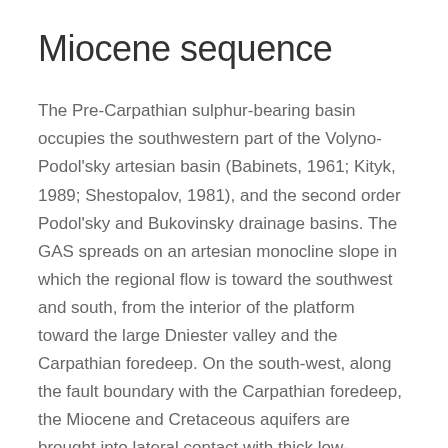Miocene sequence
The Pre-Carpathian sulphur-bearing basin occupies the southwestern part of the Volyno-Podol'sky artesian basin (Babinets, 1961; Kityk, 1989; Shestopalov, 1981), and the second order Podol'sky and Bukovinsky drainage basins. The GAS spreads on an artesian monocline slope in which the regional flow is toward the southwest and south, from the interior of the platform toward the large Dniester valley and the Carpathian foredeep. On the south-west, along the fault boundary with the Carpathian foredeep, the Miocene and Cretaceous aquifers are brought into lateral contact with thick low-permeable clays of the Kosovsky formation. This causes an upward discharge of the aquifer system through the capping clays. The same situation takes place also along every major block